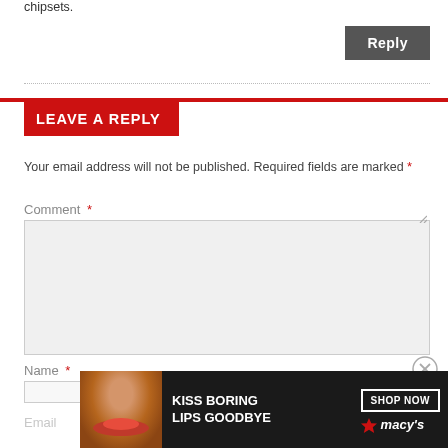chipsets.
Reply
LEAVE A REPLY
Your email address will not be published. Required fields are marked *
Comment *
Name *
Email
[Figure (photo): Macy's advertisement banner: KISS BORING LIPS GOODBYE with SHOP NOW button and Macy's star logo]